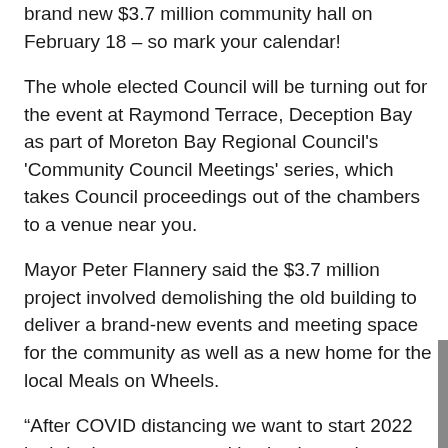brand new $3.7 million community hall on February 18 – so mark your calendar!
The whole elected Council will be turning out for the event at Raymond Terrace, Deception Bay as part of Moreton Bay Regional Council's 'Community Council Meetings' series, which takes Council proceedings out of the chambers to a venue near you.
Mayor Peter Flannery said the $3.7 million project involved demolishing the old building to deliver a brand-new events and meeting space for the community as well as a new home for the local Meals on Wheels.
“After COVID distancing we want to start 2022 by bringing our communities back together - which is why we’ve spent the lockdown periods building better facilities like this new hall, and it’s also why we’re taking our Council meetings on the road to ensure we’re more available than ever,” Mayor Flannery said.